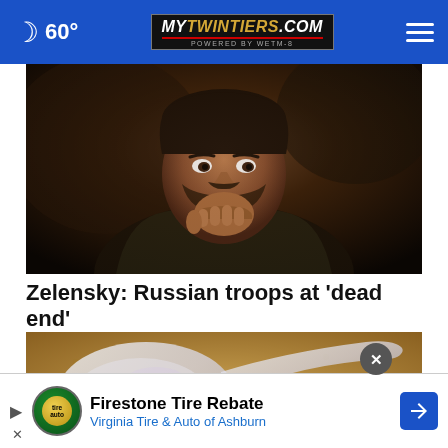🌙 60° mytwintiers.com
[Figure (photo): Close-up photo of a man (Zelensky) in dark clothing, looking pensive with his hand near his chin, dark background]
Zelensky: Russian troops at 'dead end'
[Figure (photo): Photo of a clear plastic measuring spoon on a sandy/dirt background]
Firestone Tire Rebate
Virginia Tire & Auto of Ashburn